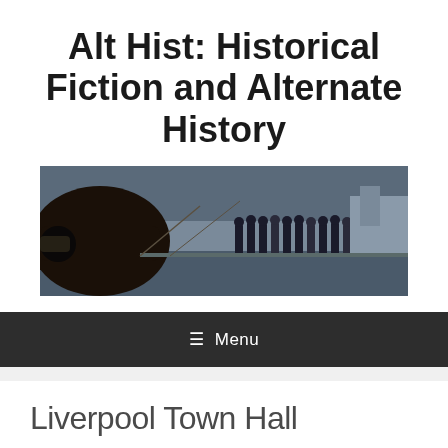Alt Hist: Historical Fiction and Alternate History
[Figure (illustration): A wide panoramic painting or photograph depicting a WWII-era naval scene: in the foreground a large dark aircraft or cannon barrel extends from the left, while a group of sailors in dark uniforms stand on a ship deck to the right, with a warship and water visible in the background.]
≡ Menu
Liverpool Town Hall